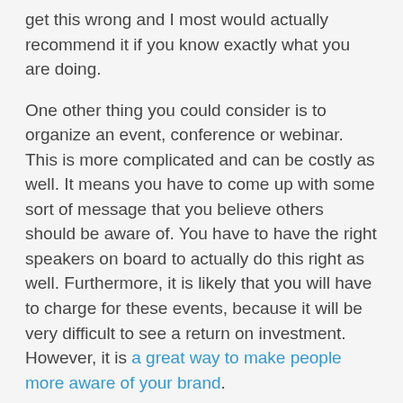get this wrong and I most would actually recommend it if you know exactly what you are doing.
One other thing you could consider is to organize an event, conference or webinar. This is more complicated and can be costly as well. It means you have to come up with some sort of message that you believe others should be aware of. You have to have the right speakers on board to actually do this right as well. Furthermore, it is likely that you will have to charge for these events, because it will be very difficult to see a return on investment. However, it is a great way to make people more aware of your brand.
It cannot be stressed enough how important it is to have a brand that people believe in and know they can trust. It is by doing this that you will attract a greater amount of customers which in turn builds your brand.